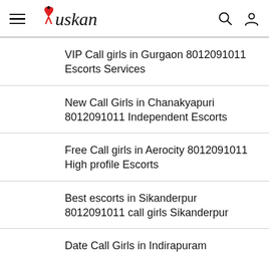Muskan
VIP Call girls in Gurgaon 8012091011 Escorts Services
New Call Girls in Chanakyapuri 8012091011 Independent Escorts
Free Call girls in Aerocity 8012091011 High profile Escorts
Best escorts in Sikanderpur 8012091011 call girls Sikanderpur
Date Call Girls in Indirapuram